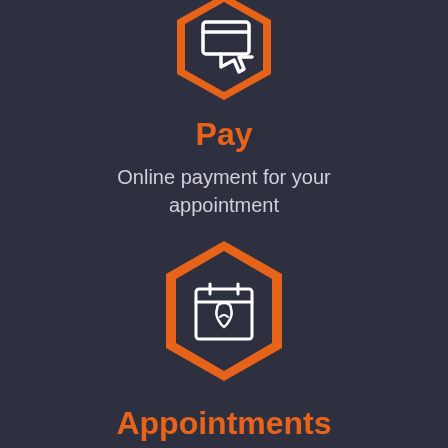[Figure (illustration): Orange hexagon icon with a white credit card / payment hand icon at the top of the page (partially cropped)]
Pay
Online payment for your appointment
[Figure (illustration): Orange hexagon icon with a white calendar/tooth dental appointment icon]
Appointments
Receive details of the dental